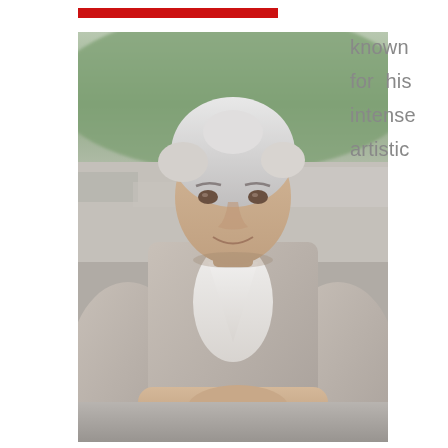[Figure (other): Red decorative bar at top left of layout]
[Figure (photo): Portrait photo of a middle-aged man with grey curly hair, wearing a light grey cardigan over a white shirt, leaning on a stone ledge with hands clasped, smiling. Background shows rooftops and a green hillside, taken outdoors.]
known for his intense artistic